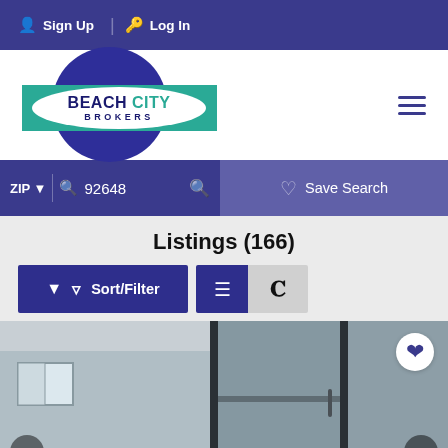Sign Up | Log In
[Figure (logo): Beach City Brokers logo — blue circle behind a teal rectangle with white oval containing 'BEACH CITY BROKERS' text]
ZIP ▼  🔍 92648  🔍   ♡ Save Search
Listings (166)
Sort/Filter  ☰  🗺
[Figure (photo): Exterior photo of a property entrance with sliding glass doors, a wall with succulents/plants, and a blue heart favorite button. Navigation arrows on left and right sides.]